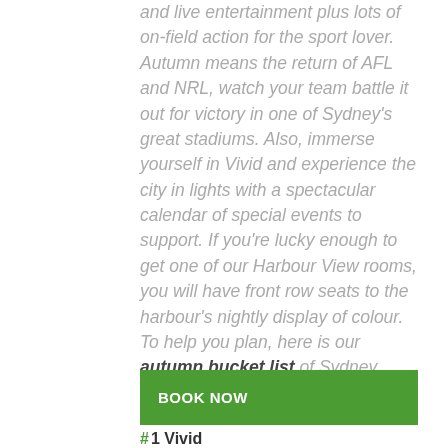and live entertainment plus lots of on-field action for the sport lover. Autumn means the return of AFL and NRL, watch your team battle it out for victory in one of Sydney's great stadiums. Also, immerse yourself in Vivid and experience the city in lights with a spectacular calendar of special events to support. If you're lucky enough to get one of our Harbour View rooms, you will have front row seats to the harbour's nightly display of colour. To help you plan, here is our autumn bucket list of Sydney events.
BOOK NOW
#1 Vivid